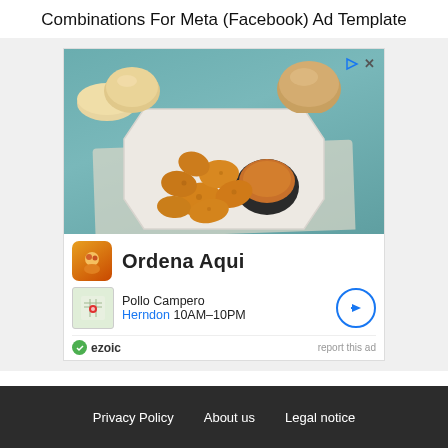Combinations For Meta (Facebook) Ad Template
[Figure (screenshot): A Meta/Facebook ad unit showing Pollo Campero restaurant advertisement with fried chicken nuggets and dipping sauce image, brand name 'Ordena Aqui', location 'Herndon 10AM-10PM', ezoic footer, and ad controls]
Privacy Policy   About us   Legal notice